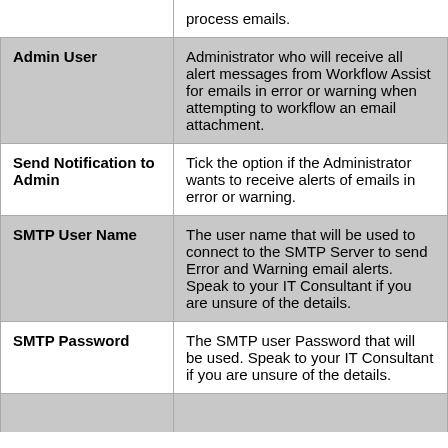| Field | Description |
| --- | --- |
|  | process emails. |
| Admin User | Administrator who will receive all alert messages from Workflow Assist for emails in error or warning when attempting to workflow an email attachment. |
| Send Notification to Admin | Tick the option if the Administrator wants to receive alerts of emails in error or warning. |
| SMTP User Name | The user name that will be used to connect to the SMTP Server to send Error and Warning email alerts. Speak to your IT Consultant if you are unsure of the details. |
| SMTP Password | The SMTP user Password that will be used. Speak to your IT Consultant if you are unsure of the details. |
|  |  |